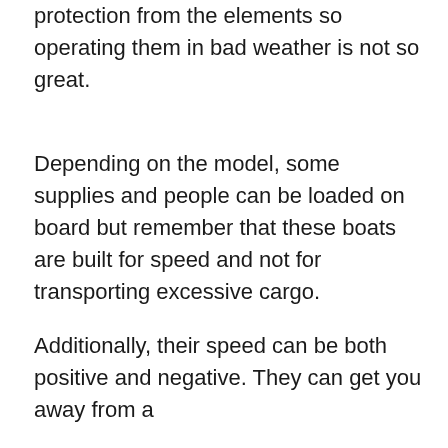protection from the elements so operating them in bad weather is not so great.
Depending on the model, some supplies and people can be loaded on board but remember that these boats are built for speed and not for transporting excessive cargo.
Additionally, their speed can be both positive and negative. They can get you away from a